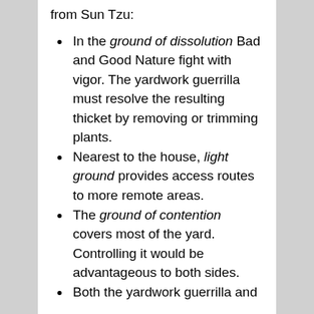from Sun Tzu:
In the ground of dissolution Bad and Good Nature fight with vigor. The yardwork guerrilla must resolve the resulting thicket by removing or trimming plants.
Nearest to the house, light ground provides access routes to more remote areas.
The ground of contention covers most of the yard. Controlling it would be advantageous to both sides.
Both the yardwork guerrilla and